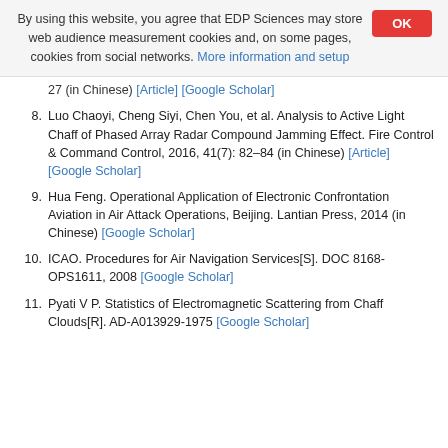By using this website, you agree that EDP Sciences may store web audience measurement cookies and, on some pages, cookies from social networks. More information and setup
27 (in Chinese) [Article] [Google Scholar]
8. Luo Chaoyi, Cheng Siyi, Chen You, et al. Analysis to Active Light Chaff of Phased Array Radar Compound Jamming Effect. Fire Control & Command Control, 2016, 41(7): 82–84 (in Chinese) [Article] [Google Scholar]
9. Hua Feng. Operational Application of Electronic Confrontation Aviation in Air Attack Operations, Beijing. Lantian Press, 2014 (in Chinese) [Google Scholar]
10. ICAO. Procedures for Air Navigation Services[S]. DOC 8168-OPS1611, 2008 [Google Scholar]
11. Pyati V P. Statistics of Electromagnetic Scattering from Chaff Clouds[R]. AD-A013929-1975 [Google Scholar]